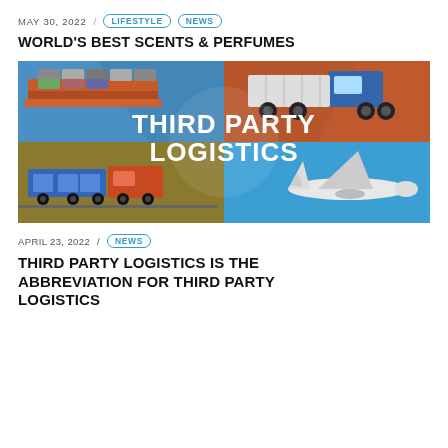MAY 30, 2022 / LIFESTYLE NEWS
WORLD'S BEST SCENTS & PERFUMES
[Figure (illustration): Third Party Logistics infographic with four quadrants: top-left blue with cargo ship, top-right orange with truck, bottom-left olive/gold with train, bottom-right blue with airplane. White bold text reads THIRD PARTY LOGISTICS in the center.]
APRIL 23, 2022 / NEWS
THIRD PARTY LOGISTICS IS THE ABBREVIATION FOR THIRD PARTY LOGISTICS